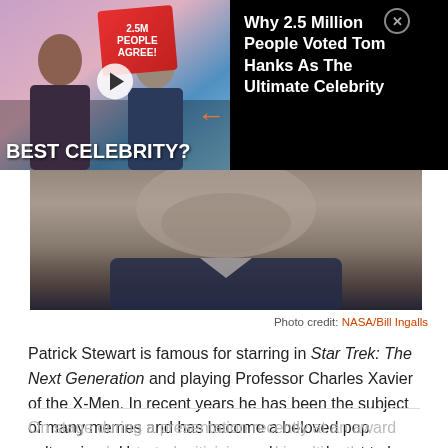[Figure (photo): Advertisement banner showing two celebrities with text 'BEST CELEBRITY?' and '2.5M PEOPLE AGREE!' badge, with headline 'Why 2.5 Million People Voted Tom Hanks As The Ultimate Celebrity']
[Figure (photo): Close-up photo of Patrick Stewart's chin/neck area, person wearing a dark suit, gray stubble visible]
Photo credit: NASA/Bill Ingalls
Patrick Stewart is famous for starring in Star Trek: The Next Generation and playing Professor Charles Xavier of the X-Men. In recent years he has been the subject of many memes and has become a beloved pop culture icon. However, memes make people out to be somewhat larger than life, but in the end, we are all human.
On stage during a presentation recently at an award ceremony, he started criticizing and insulting the